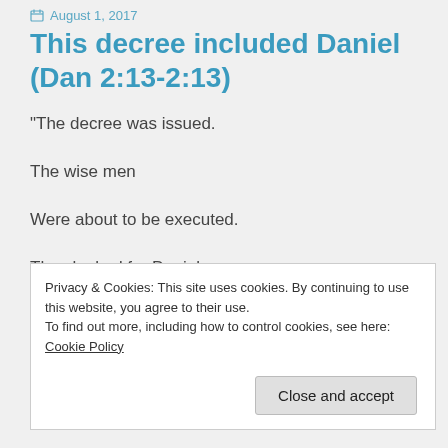August 1, 2017
This decree included Daniel (Dan 2:13-2:13)
“The decree was issued.
The wise men
Were about to be executed.
They looked for Daniel
Privacy & Cookies: This site uses cookies. By continuing to use this website, you agree to their use.
To find out more, including how to control cookies, see here: Cookie Policy